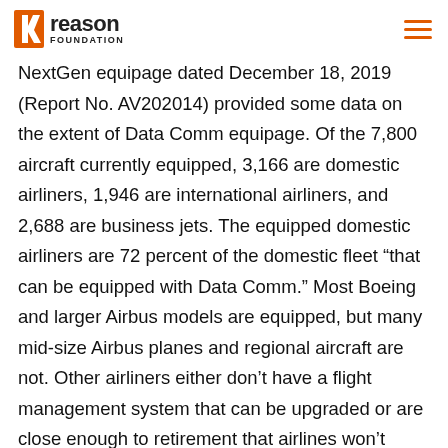Reason Foundation
NextGen equipage dated December 18, 2019 (Report No. AV202014) provided some data on the extent of Data Comm equipage. Of the 7,800 aircraft currently equipped, 3,166 are domestic airliners, 1,946 are international airliners, and 2,688 are business jets. The equipped domestic airliners are 72 percent of the domestic fleet “that can be equipped with Data Comm.” Most Boeing and larger Airbus models are equipped, but many mid-size Airbus planes and regional aircraft are not. Other airliners either don’t have a flight management system that can be upgraded or are close enough to retirement that airlines won’t spend the money to upgrade them (e.g., Delta’s